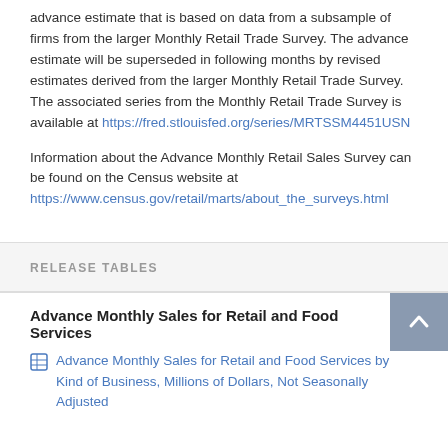advance estimate that is based on data from a subsample of firms from the larger Monthly Retail Trade Survey. The advance estimate will be superseded in following months by revised estimates derived from the larger Monthly Retail Trade Survey. The associated series from the Monthly Retail Trade Survey is available at https://fred.stlouisfed.org/series/MRTSSM4451USN
Information about the Advance Monthly Retail Sales Survey can be found on the Census website at https://www.census.gov/retail/marts/about_the_surveys.html
RELEASE TABLES
Advance Monthly Sales for Retail and Food Services
Advance Monthly Sales for Retail and Food Services by Kind of Business, Millions of Dollars, Not Seasonally Adjusted